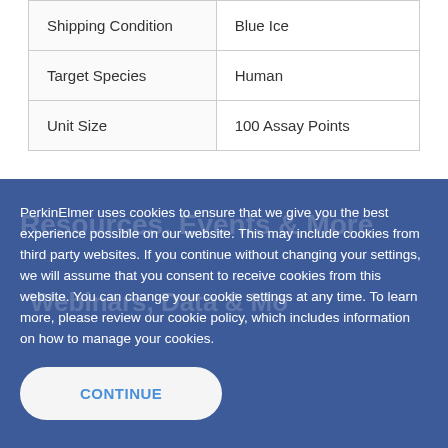| Shipping Condition | Blue Ice |
| Target Species | Human |
| Unit Size | 100 Assay Points |
PerkinElmer uses cookies to ensure that we give you the best experience possible on our website. This may include cookies from third party websites. If you continue without changing your settings, we will assume that you consent to receive cookies from this website. You can change your cookie settings at any time. To learn more, please review our cookie policy, which includes information on how to manage your cookies.
CONTINUE
Related Products